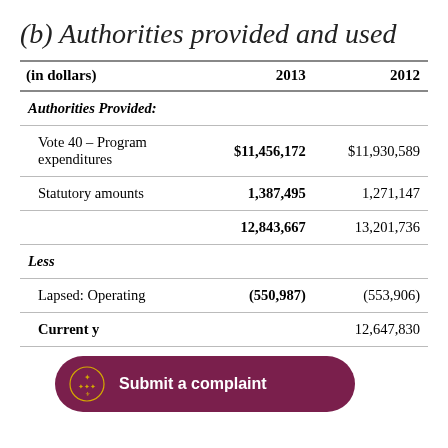(b) Authorities provided and used
| (in dollars) | 2013 | 2012 |
| --- | --- | --- |
| Authorities Provided: |  |  |
| Vote 40 – Program expenditures | $11,456,172 | $11,930,589 |
| Statutory amounts | 1,387,495 | 1,271,147 |
|  | 12,843,667 | 13,201,736 |
| Less |  |  |
| Lapsed: Operating | (550,987) | (553,906) |
| Current year authorities used |  | 12,647,830 |